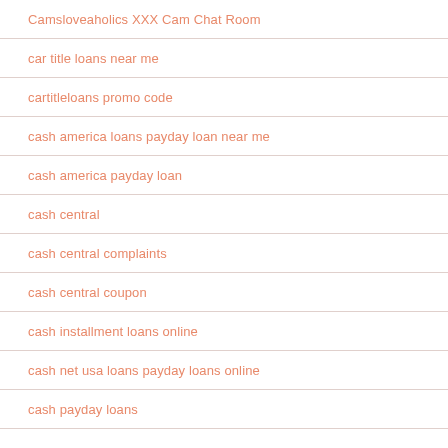Camsloveaholics XXX Cam Chat Room
car title loans near me
cartitleloans promo code
cash america loans payday loan near me
cash america payday loan
cash central
cash central complaints
cash central coupon
cash installment loans online
cash net usa loans payday loans online
cash payday loans